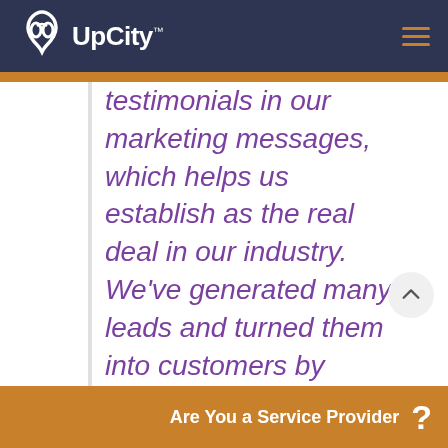UpCity™
testimonials in our marketing messages, which helps us establish as the real deal in our industry. We've generated many leads and turned them into customers by leveraging our user-generated social proof. Plus, we also include quotes fre… experts a…
Are You a Service Provider ?